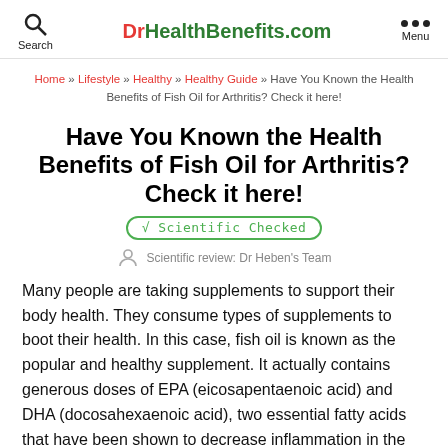DrHealthBenefits.com | Search | Menu
Home » Lifestyle » Healthy » Healthy Guide » Have You Known the Health Benefits of Fish Oil for Arthritis? Check it here!
Have You Known the Health Benefits of Fish Oil for Arthritis? Check it here!
√ Scientific Checked
Scientific review: Dr Heben's Team
Many people are taking supplements to support their body health. They consume types of supplements to boot their health. In this case, fish oil is known as the popular and healthy supplement. It actually contains generous doses of EPA (eicosapentaenoic acid) and DHA (docosahexaenoic acid), two essential fatty acids that have been shown to decrease inflammation in the joints. Moreover, both of